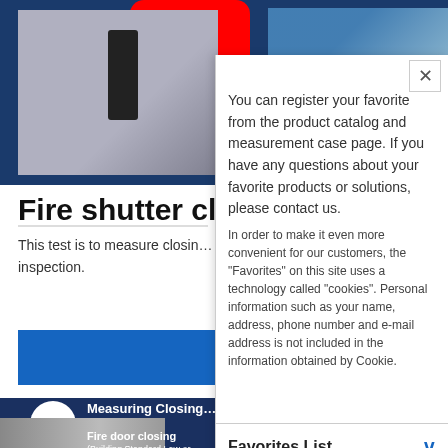[Figure (screenshot): Website screenshot showing fire shutter closing force inspection page with YouTube video thumbnail and blue play button, partially obscured by overlay panel. Bottom section shows a second video thumbnail with IMADA logo and fire door closing text.]
Fire shutter closi…
This test is to measure closin… inspection.
CLI… FOR…
You can register your favorite from the product catalog and measurement case page. If you have any questions about your favorite products or solutions, please contact us. In order to make it even more convenient for our customers, the "Favorites" on this site uses a technology called "cookies". Personal information such as your name, address, phone number and e-mail address is not included in the information obtained by Cookie.
Favorites List
No Favorites
Contact us
Unit Converter (Useful Tool)